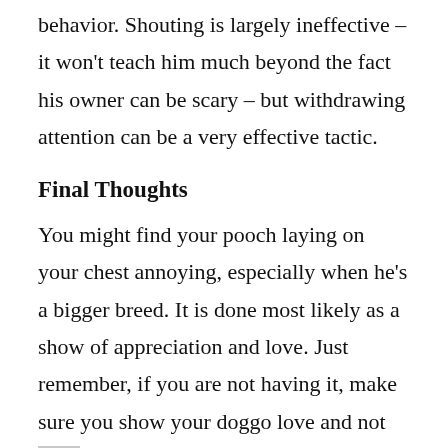behavior. Shouting is largely ineffective – it won't teach him much beyond the fact his owner can be scary – but withdrawing attention can be a very effective tactic.
Final Thoughts
You might find your pooch laying on your chest annoying, especially when he's a bigger breed. It is done most likely as a show of appreciation and love. Just remember, if you are not having it, make sure you show your doggo love and not fear. After all, every human-dog relationship is a